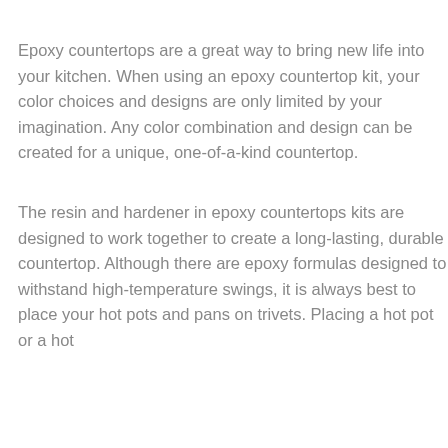Epoxy countertops are a great way to bring new life into your kitchen. When using an epoxy countertop kit, your color choices and designs are only limited by your imagination. Any color combination and design can be created for a unique, one-of-a-kind countertop.
The resin and hardener in epoxy countertops kits are designed to work together to create a long-lasting, durable countertop. Although there are epoxy formulas designed to withstand high-temperature swings, it is always best to place your hot pots and pans on trivets. Placing a hot pot or a hot